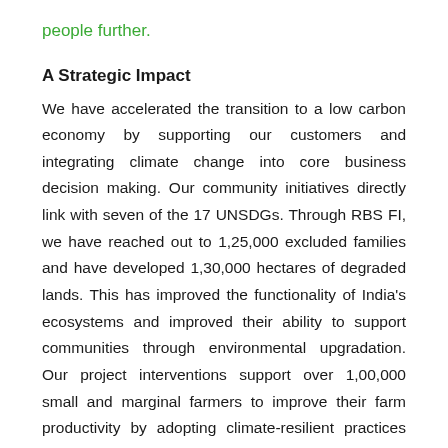people further.
A Strategic Impact
We have accelerated the transition to a low carbon economy by supporting our customers and integrating climate change into core business decision making. Our community initiatives directly link with seven of the 17 UNSDGs. Through RBS FI, we have reached out to 1,25,000 excluded families and have developed 1,30,000 hectares of degraded lands. This has improved the functionality of India's ecosystems and improved their ability to support communities through environmental upgradation. Our project interventions support over 1,00,000 small and marginal farmers to improve their farm productivity by adopting climate-resilient practices and support 20,000 women on developing farm-non farm enterprises.